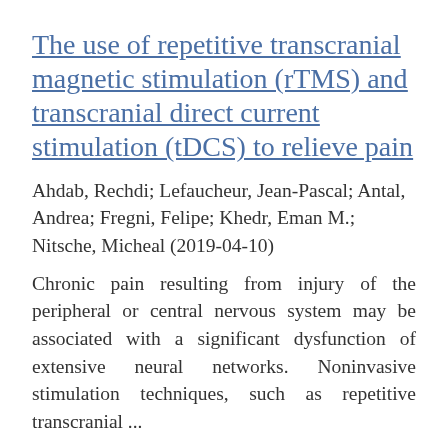The use of repetitive transcranial magnetic stimulation (rTMS) and transcranial direct current stimulation (tDCS) to relieve pain
Ahdab, Rechdi; Lefaucheur, Jean-Pascal; Antal, Andrea; Fregni, Felipe; Khedr, Eman M.; Nitsche, Micheal (2019-04-10)
Chronic pain resulting from injury of the peripheral or central nervous system may be associated with a significant dysfunction of extensive neural networks. Noninvasive stimulation techniques, such as repetitive transcranial ...